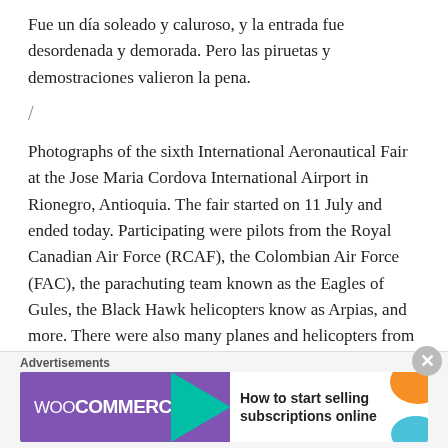Fue un día soleado y caluroso, y la entrada fue desordenada y demorada. Pero las piruetas y demostraciones valieron la pena.
/
Photographs of the sixth International Aeronautical Fair at the Jose Maria Cordova International Airport in Rionegro, Antioquia. The fair started on 11 July and ended today. Participating were pilots from the Royal Canadian Air Force (RCAF), the Colombian Air Force (FAC), the parachuting team known as the Eagles of Gules, the Black Hawk helicopters know as Arpias, and more. There were also many planes and helicopters from Colombia, Canada and the United States
Advertisements
[Figure (other): WooCommerce advertisement banner: purple background with WooCommerce logo and teal arrow, with text 'How to start selling subscriptions online' and orange/blue decorative shapes on right side.]